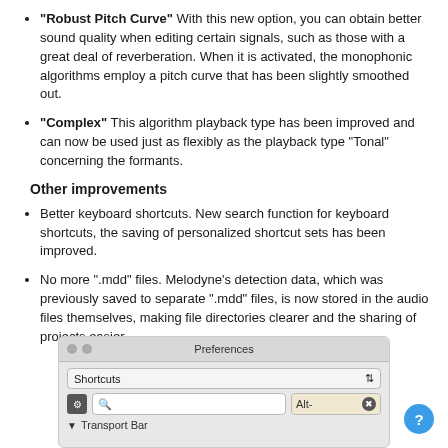"Robust Pitch Curve" With this new option, you can obtain better sound quality when editing certain signals, such as those with a great deal of reverberation. When it is activated, the monophonic algorithms employ a pitch curve that has been slightly smoothed out.
"Complex" This algorithm playback type has been improved and can now be used just as flexibly as the playback type "Tonal" concerning the formants.
Other improvements
Better keyboard shortcuts. New search function for keyboard shortcuts, the saving of personalized shortcut sets has been improved.
No more ".mdd" files. Melodyne's detection data, which was previously saved to separate ".mdd" files, is now stored in the audio files themselves, making file directories clearer and the sharing of projects easier.
[Figure (screenshot): Screenshot of a Preferences dialog showing Shortcuts dropdown, a search field with Alt- filter, and a Transport Bar entry.]